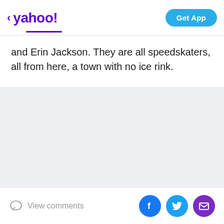< yahoo! | Get App
and Erin Jackson. They are all speedskaters, all from here, a town with no ice rink.
View comments | Facebook | Twitter | Mail